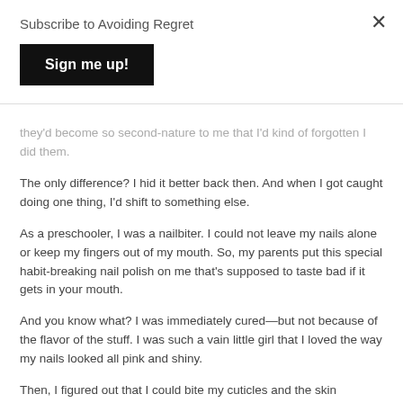Subscribe to Avoiding Regret
Sign me up!
they'd become so second-nature to me that I'd kind of forgotten I did them.
The only difference? I hid it better back then. And when I got caught doing one thing, I'd shift to something else.
As a preschooler, I was a nailbiter. I could not leave my nails alone or keep my fingers out of my mouth. So, my parents put this special habit-breaking nail polish on me that's supposed to taste bad if it gets in your mouth.
And you know what? I was immediately cured—but not because of the flavor of the stuff. I was such a vain little girl that I loved the way my nails looked all pink and shiny.
Then, I figured out that I could bite my cuticles and the skin